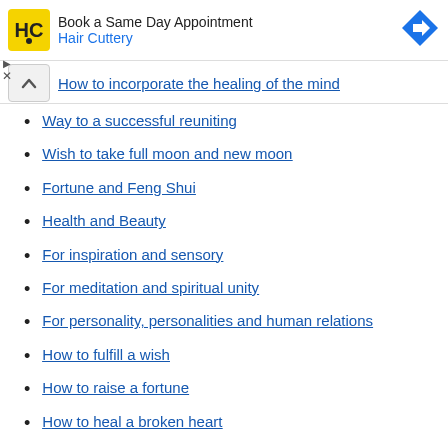[Figure (other): Hair Cuttery advertisement banner with logo, text 'Book a Same Day Appointment / Hair Cuttery', and a blue direction arrow icon]
How to incorporate the healing of the mind
Way to a successful reuniting
Wish to take full moon and new moon
Fortune and Feng Shui
Health and Beauty
For inspiration and sensory
For meditation and spiritual unity
For personality, personalities and human relations
How to fulfill a wish
How to raise a fortune
How to heal a broken heart
Dream divination, dream diagnosis
Healing
Other articles